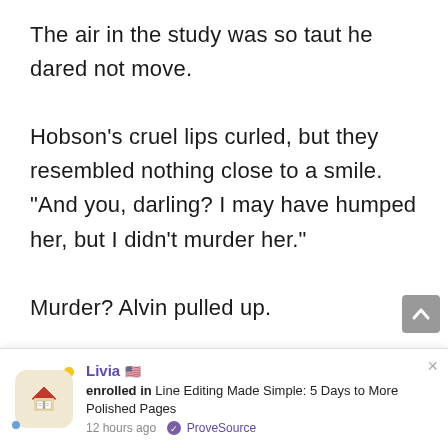The air in the study was so taut he dared not move. Hobson's cruel lips curled, but they resembled nothing close to a smile. “And you, darling? I may have humped her, but I didn’t murder her.”

Murder? Alvin pulled up.

“Look at it this way, darling.” Sarcasm dripped from her. “We
[Figure (other): Notification bar showing: Livia (US flag emoji) enrolled in Line Editing Made Simple: 5 Days to More Polished Pages, 12 hours ago, ProveSource. Includes a book icon logo and close button.]